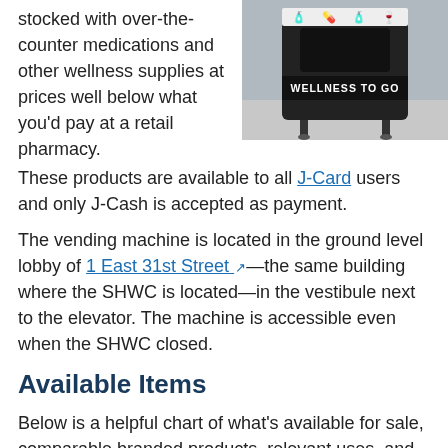stocked with over-the-counter medications and other wellness supplies at prices well below what you'd pay at a retail pharmacy.
[Figure (photo): A small black vending machine with 'WELLNESS TO GO' label and icons for health products on top, standing on short legs on a tile floor.]
These products are available to all J-Card users and only J-Cash is accepted as payment.
The vending machine is located in the ground level lobby of 1 East 31st Street —the same building where the SHWC is located—in the vestibule next to the elevator. The machine is accessible even when the SHWC closed.
Available Items
Below is a helpful chart of what's available for sale, comparable branded products, relevant uses, and prices.
For example, levonorgestrel (generic Plan B) can cost as much as $68 at a pharmacy. The wellness vending machine...